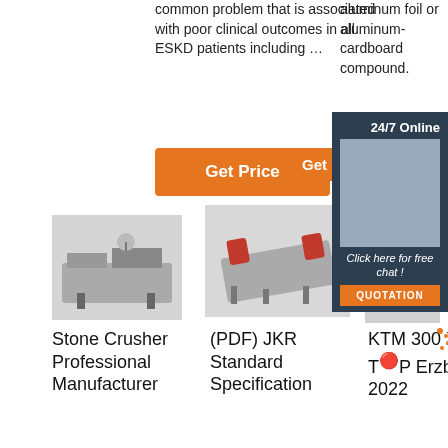common problem that is associated with poor clinical outcomes in all ESKD patients including …
aluminum foil or aluminum-cardboard compound.
[Figure (other): Orange 'Get Price' button]
[Figure (other): Dark navy banner ad with '24/7 Online', 'Get' button, woman with headset photo, 'Click here for free chat!', 'QUOTATION' button]
[Figure (photo): Stone crusher machine product photo]
[Figure (photo): Vibrating screen / industrial equipment product photo]
[Figure (photo): Industrial hopper or equipment product photo]
Stone Crusher Professional Manufacturer
(PDF) JKR Standard Specification
KTM 300 XC-W T Erzbergrodeo 2022